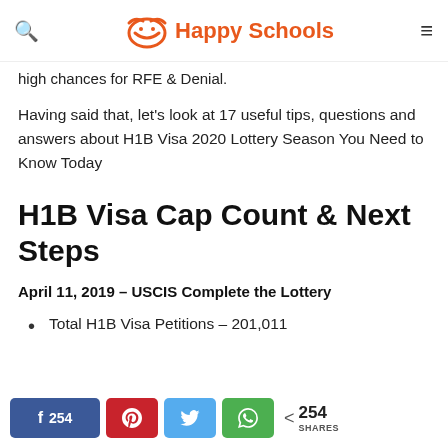Happy Schools
high chances for RFE & Denial.
Having said that, let's look at 17 useful tips, questions and answers about H1B Visa 2020 Lottery Season You Need to Know Today
H1B Visa Cap Count & Next Steps
April 11, 2019 – USCIS Complete the Lottery
Total H1B Visa Petitions – 201,011